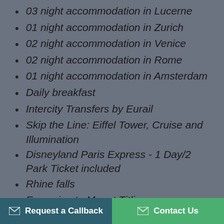03 night accommodation in Lucerne
01 night accommodation in Zurich
02 night accommodation in Venice
02 night accommodation in Rome
01 night accommodation in Amsterdam
Daily breakfast
Intercity Transfers by Eurail
Skip the Line: Eiffel Tower, Cruise and Illumination
Disneyland Paris Express - 1 Day/2 Park Ticket included
Rhine falls
Excursion to Mount Titlis
Doge's Palace tour - Skip the line
Request a Callback   Contact Us